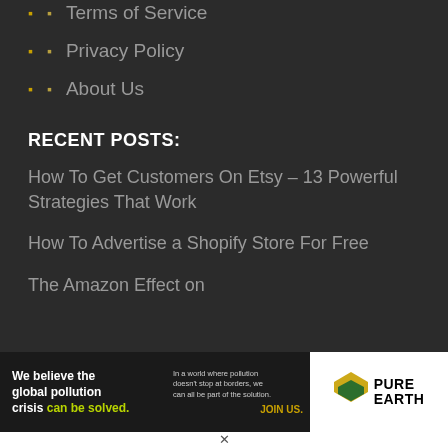Terms of Service
Privacy Policy
About Us
RECENT POSTS:
How To Get Customers On Etsy – 13 Powerful Strategies That Work
How To Advertise a Shopify Store For Free
The Amazon Effect on
[Figure (infographic): Pure Earth advertisement banner: 'We believe the global pollution crisis can be solved.' with yellow 'can be solved.' text, small text 'In a world where pollution doesn't stop at borders, we can all be part of the solution.' and yellow 'JOIN US.' call to action. Right side shows Pure Earth diamond/chevron logo with PURE EARTH text.]